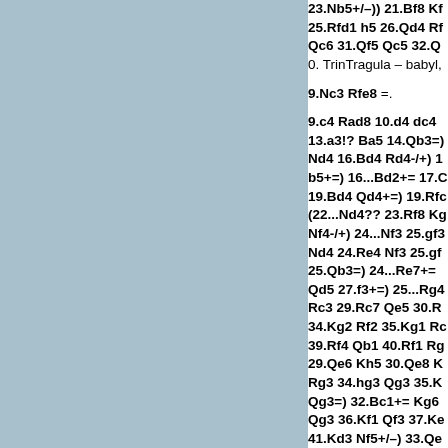23.Nb5+/–)) 21.Bf8 Kf 25.Rfd1 h5 26.Qd4 Rf Qc6 31.Qf5 Qc5 32.Q 0. TrinTragula – babyl, 9.Nc3 Rfe8 =. 9.c4 Rad8 10.d4 dc4 13.a3!? Ba5 14.Qb3=) Nd4 16.Bd4 Rd4-/+) 1 b5+=) 16...Bd2+= 17.C 19.Bd4 Qd4+=) 19.Rfc (22...Nd4?? 23.Rf8 Kg Nf4-/+) 24...Nf3 25.gf3 Nd4 24.Re4 Nf3 25.gf 25.Qb3=) 24...Re7+= Qd5 27.f3+=) 25...Rg4 Rc3 29.Rc7 Qe5 30.R 34.Kg2 Rf2 35.Kg1 Rc 39.Rf4 Qb1 40.Rf1 Rg 29.Qe6 Kh5 30.Qe8 K Rg3 34.hg3 Qg3 35.K Qg3=) 32.Bc1+= Kg6 Qg3 36.Kf1 Qf3 37.Ke 41.Kd3 Nf5+/–) 33.Qe 36.Qc8 Kd5 37.Qb7 K